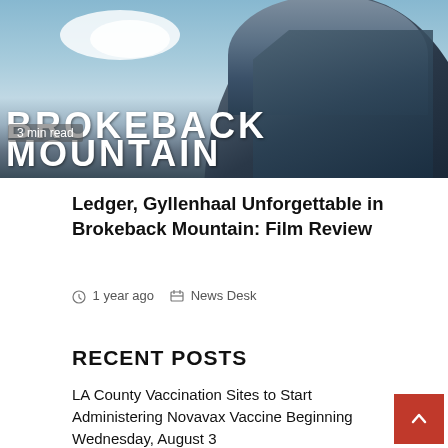[Figure (photo): Movie promotional image for Brokeback Mountain showing a person in a denim jacket with mountain scenery. Large white text reads 'BROKEBACK MOUNTAIN' overlaid on the image. A '3 min read' badge is shown in the lower left of the image.]
Ledger, Gyllenhaal Unforgettable in Brokeback Mountain: Film Review
1 year ago  News Desk
RECENT POSTS
LA County Vaccination Sites to Start Administering Novavax Vaccine Beginning Wednesday, August 3
Ocean Water Use Warning for Los Angeles County Beaches